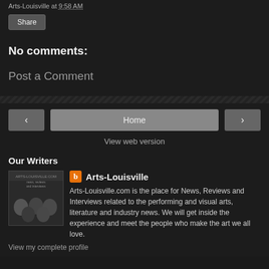Arts-Louisville at 9:58 AM
Share
No comments:
Post a Comment
Home
View web version
Our Writers
[Figure (photo): Group photo of Arts-Louisville writers]
Arts-Louisville
Arts-Louisville.com is the place for News, Reviews and Interviews related to the performing and visual arts, literature and industry news. We will get inside the experience and meet the people who make the art we all love.
View my complete profile